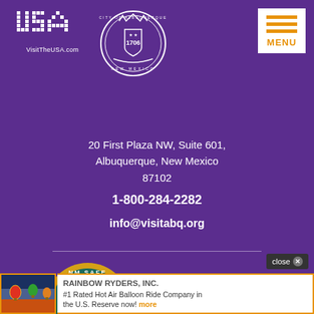[Figure (logo): VisitTheUSA.com pixel logo and City of Albuquerque 1706 New Mexico seal]
[Figure (logo): Menu button with orange horizontal bars and MENU text]
20 First Plaza NW, Suite 601, Albuquerque, New Mexico 87102
1-800-284-2282
info@visitabq.org
[Figure (logo): NM Safe Certified badge - circular gold and teal badge with heart on New Mexico outline, text NM SAFE and CERTIFIED]
TRAINED IN COVID-SAFE PRACTICES
[Figure (infographic): Close button in bottom right corner]
[Figure (photo): Ad banner image of hot air balloons at sunrise]
RAINBOW RYDERS, INC. #1 Rated Hot Air Balloon Ride Company in the U.S. Reserve now! more